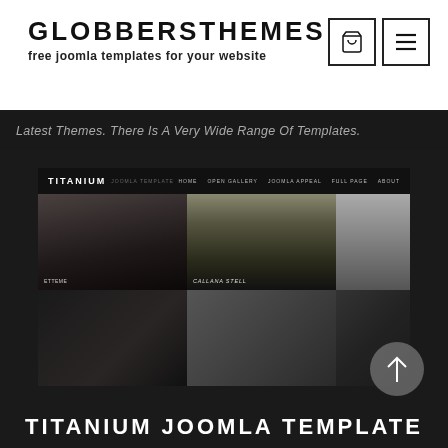GLOBBERSTHEMES
free joomla templates for your website
[Figure (screenshot): Two icon buttons: shopping cart and hamburger menu, in square bordered boxes]
Latest Themes. There Is A Very Wide Range Of Templates.
[Figure (screenshot): Screenshot of the Titanium Joomla template website showing a fashion photo gallery grid with navbar at top]
TITANIUM JOOMLA TEMPLATE